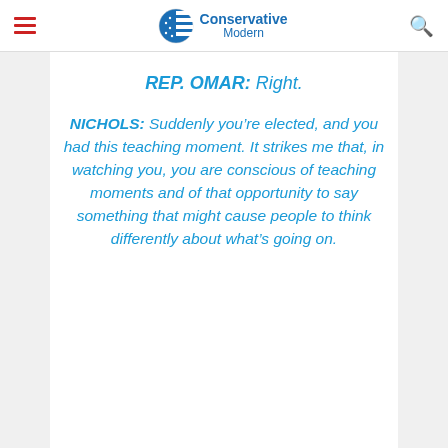Conservative Modern
REP. OMAR: Right.
NICHOLS: Suddenly you’re elected, and you had this teaching moment. It strikes me that, in watching you, you are conscious of teaching moments and of that opportunity to say something that might cause people to think differently about what’s going on.